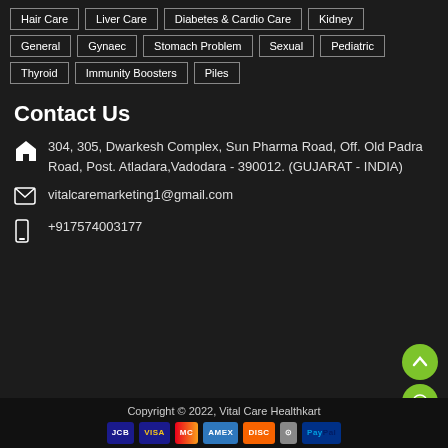Hair Care
Liver Care
Diabetes & Cardio Care
Kidney
General
Gynaec
Stomach Problem
Sexual
Pediatric
Thyroid
Immunity Boosters
Piles
Contact Us
304, 305, Dwarkesh Complex, Sun Pharma Road, Off. Old Padra Road, Post. Atladara,Vadodara - 390012. (GUJARAT - INDIA)
vitalcaremarketing1@gmail.com
+917574003177
Copyright © 2022, Vital Care Healthkart